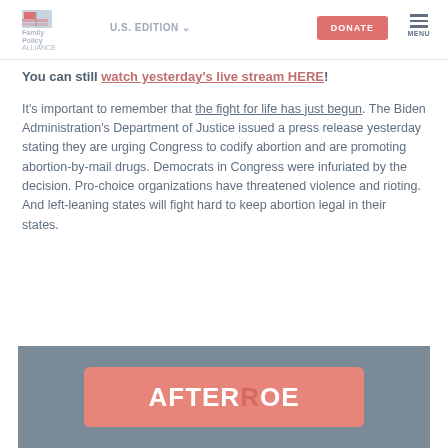Family Policy Alliance | U.S. EDITION | DONATE | MENU
You can still watch yesterday's live stream HERE!
It's important to remember that the fight for life has just begun. The Biden Administration's Department of Justice issued a press release yesterday stating they are urging Congress to codify abortion and are promoting abortion-by-mail drugs. Democrats in Congress were infuriated by the decision. Pro-choice organizations have threatened violence and rioting. And left-leaning states will fight hard to keep abortion legal in their states.
[Figure (photo): AFTER ROE banner/logo text on a salmon/pink background set against a gray background]